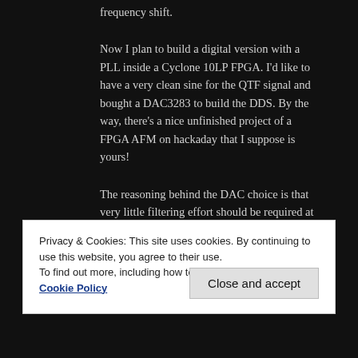frequency shift.
Now I plan to build a digital version with a PLL inside a Cyclone 10LP FPGA. I'd like to have a very clean sine for the QTF signal and bought a DAC3283 to build the DDS. By the way, there’s a nice unfinished project of a FPGA AFM on hackaday that I suppose is yours!
The reasoning behind the DAC choice is that very little filtering effort should be required at such oversampling and unintended phase shift should be minimized. But such high speed design will be more complex. Do you think that is a good idea? What is i...
Privacy & Cookies: This site uses cookies. By continuing to use this website, you agree to their use.
To find out more, including how to control cookies, see here: Cookie Policy